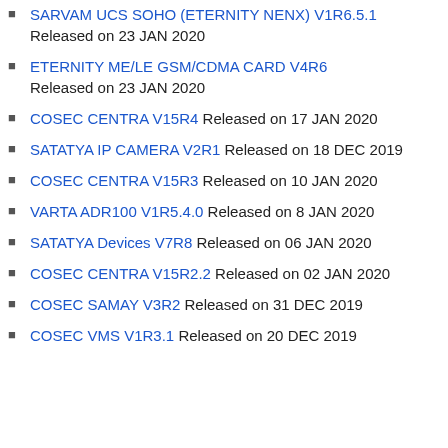SARVAM UCS SOHO (ETERNITY NENX) V1R6.5.1 Released on 23 JAN 2020
ETERNITY ME/LE GSM/CDMA CARD V4R6 Released on 23 JAN 2020
COSEC CENTRA V15R4 Released on 17 JAN 2020
SATATYA IP CAMERA V2R1 Released on 18 DEC 2019
COSEC CENTRA V15R3 Released on 10 JAN 2020
VARTA ADR100 V1R5.4.0 Released on 8 JAN 2020
SATATYA Devices V7R8 Released on 06 JAN 2020
COSEC CENTRA V15R2.2 Released on 02 JAN 2020
COSEC SAMAY V3R2 Released on 31 DEC 2019
COSEC VMS V1R3.1 Released on 20 DEC 2019